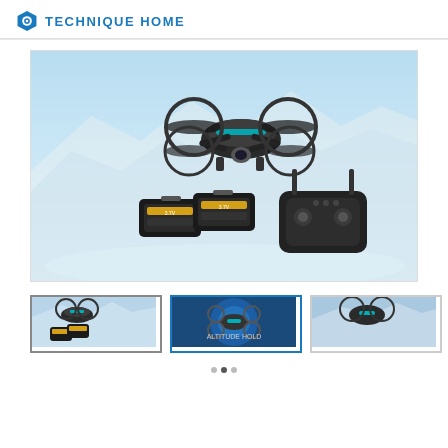[Figure (logo): Technique Home logo with blue hexagon icon and bold blue text]
[Figure (photo): Main product photo: drone with camera flying above snowy mountain landscape, two LiPo batteries and a remote controller also visible, light blue sky background]
[Figure (photo): Thumbnail 1: Drone with battery and accessories on blue background]
[Figure (photo): Thumbnail 2: Drone close-up blue circle graphic]
[Figure (photo): Thumbnail 3: Drone flying over snowy mountain]
[Figure (photo): Thumbnail 4 (right side): Drone components and accessories parts list diagram]